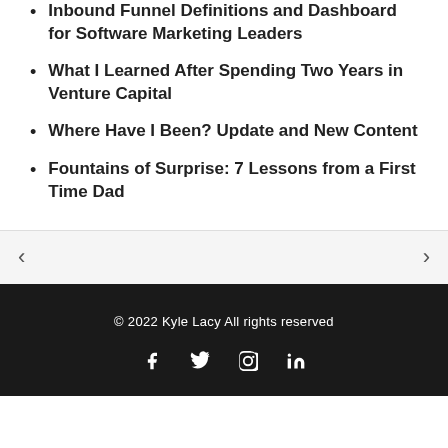Inbound Funnel Definitions and Dashboard for Software Marketing Leaders
What I Learned After Spending Two Years in Venture Capital
Where Have I Been? Update and New Content
Fountains of Surprise: 7 Lessons from a First Time Dad
© 2022 Kyle Lacy All rights reserved